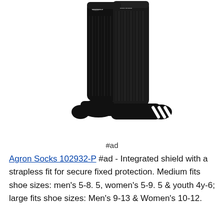[Figure (photo): Two black adidas knee-high socks standing upright, showing the three white stripes on the heel/side and adidas logo near the top cuff.]
#ad
Agron Socks 102932-P #ad - Integrated shield with a strapless fit for secure fixed protection. Medium fits shoe sizes: men's 5-8. 5, women's 5-9. 5 & youth 4y-6; large fits shoe sizes: Men's 9-13 & Women's 10-12.